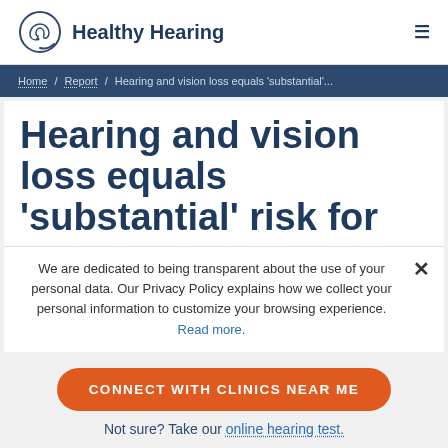[Figure (logo): Healthy Hearing logo with ear icon in speech bubble and text 'Healthy Hearing']
Home / Report / Hearing and vision loss equals 'substantial'...
Hearing and vision loss equals 'substantial' risk for
We are dedicated to being transparent about the use of your personal data. Our Privacy Policy explains how we collect your personal information to customize your browsing experience. Read more.
CONNECT WITH CLINICS NEAR ME
Not sure? Take our online hearing test.